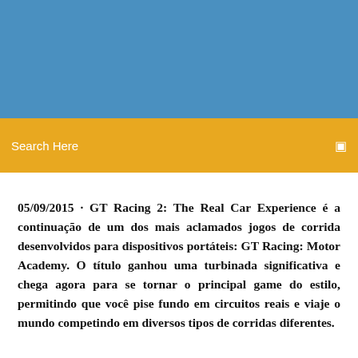[Figure (other): Blue banner header area]
Search Here
05/09/2015 · GT Racing 2: The Real Car Experience é a continuação de um dos mais aclamados jogos de corrida desenvolvidos para dispositivos portáteis: GT Racing: Motor Academy. O título ganhou uma turbinada significativa e chega agora para se tornar o principal game do estilo, permitindo que você pise fundo em circuitos reais e viaje o mundo competindo em diversos tipos de corridas diferentes.